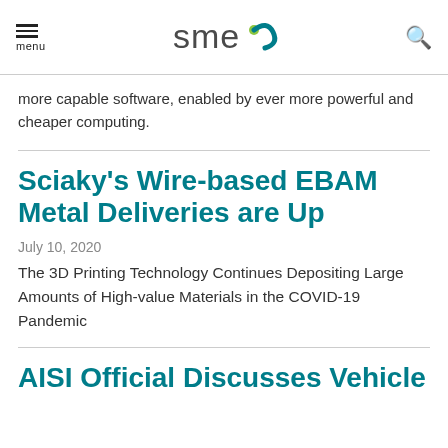menu | SME | search
more capable software, enabled by ever more powerful and cheaper computing.
Sciaky's Wire-based EBAM Metal Deliveries are Up
July 10, 2020
The 3D Printing Technology Continues Depositing Large Amounts of High-value Materials in the COVID-19 Pandemic
AISI Official Discusses Vehicle